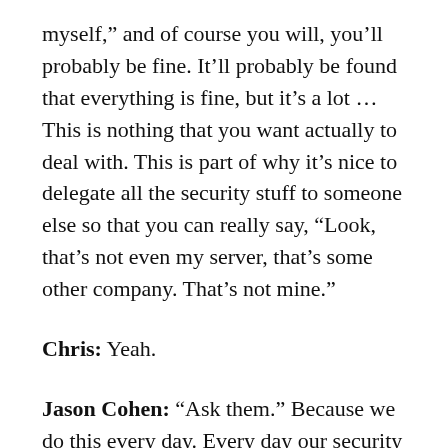myself,” and of course you will, you’ll probably be fine. It’ll probably be found that everything is fine, but it’s a lot … This is nothing that you want actually to deal with. This is part of why it’s nice to delegate all the security stuff to someone else so that you can really say, “Look, that’s not even my server, that’s some other company. That’s not mine.”
Chris: Yeah.
Jason Cohen: “Ask them.” Because we do this every day. Every day our security team is working on either something that got hacked, and people are using it, or there’s some active investigation that somehow we’re participating in. It’s